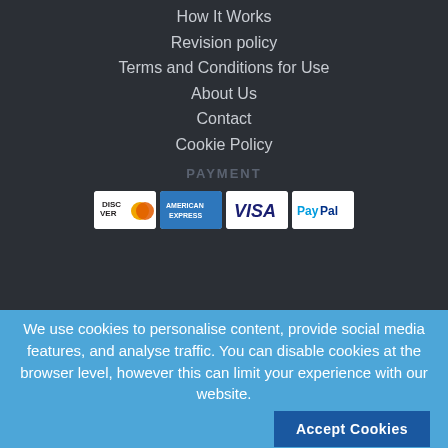How It Works
Revision policy
Terms and Conditions for Use
About Us
Contact
Cookie Policy
PAYMENT
[Figure (logo): Payment method icons: Discover, American Express, Visa, PayPal]
We use cookies to personalise content, provide social media features, and analyse traffic. You can disable cookies at the browser level, however this can limit your experience with our website.
Accept Cookies